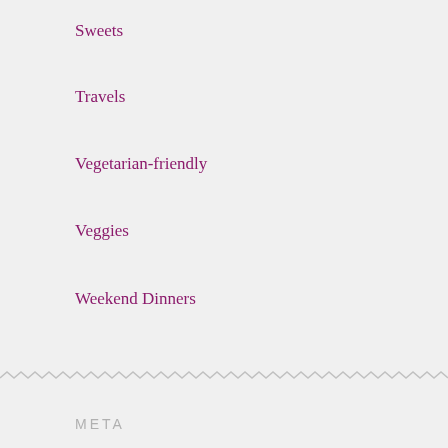Sweets
Travels
Vegetarian-friendly
Veggies
Weekend Dinners
META
Register
Log in
Entries feed
Comments feed
WordPress.com